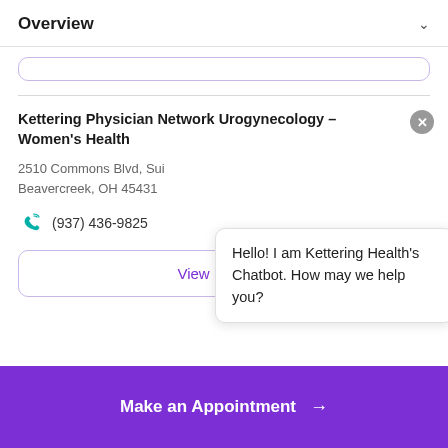Overview
Kettering Physician Network Urogynecology – Women's Health
2510 Commons Blvd, Sui
Beavercreek, OH 45431
(937) 436-9825
Hello! I am Kettering Health's Chatbot. How may we help you?
View Location
Make an Appointment